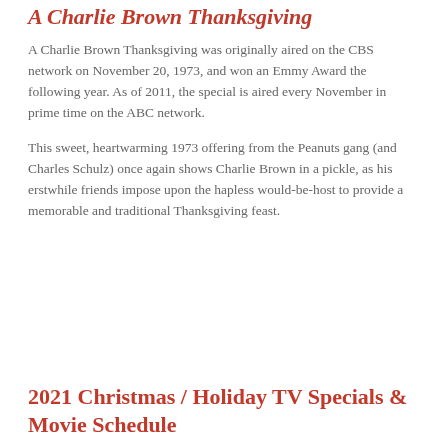A Charlie Brown Thanksgiving
A Charlie Brown Thanksgiving was originally aired on the CBS network on November 20, 1973, and won an Emmy Award the following year. As of 2011, the special is aired every November in prime time on the ABC network.
This sweet, heartwarming 1973 offering from the Peanuts gang (and Charles Schulz) once again shows Charlie Brown in a pickle, as his erstwhile friends impose upon the hapless would-be-host to provide a memorable and traditional Thanksgiving feast.
2021 Christmas / Holiday TV Specials & Movie Schedule